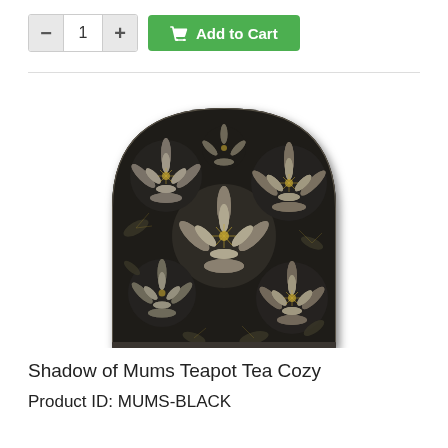[Figure (screenshot): E-commerce add to cart control: minus button, quantity field showing 1, plus button, and green Add to Cart button with shopping cart icon]
[Figure (photo): Tea cozy product photo showing an arch-shaped tea cozy with a dark background covered in intricate gray and gold chrysanthemum (mums) floral pattern]
Shadow of Mums Teapot Tea Cozy
Product ID: MUMS-BLACK